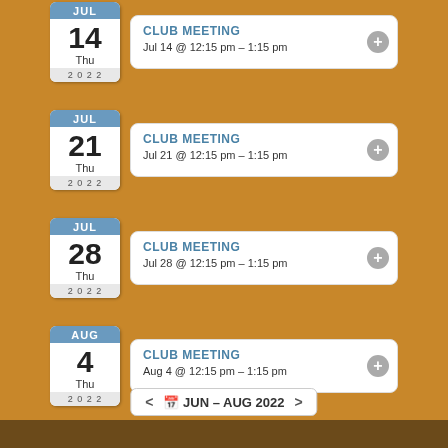CLUB MEETING
Jul 14 @ 12:15 pm – 1:15 pm
Thu 14 JUL 2022
CLUB MEETING
Jul 21 @ 12:15 pm – 1:15 pm
Thu 21 JUL 2022
CLUB MEETING
Jul 28 @ 12:15 pm – 1:15 pm
Thu 28 JUL 2022
CLUB MEETING
Aug 4 @ 12:15 pm – 1:15 pm
Thu 4 AUG 2022
< JUN – AUG 2022 >